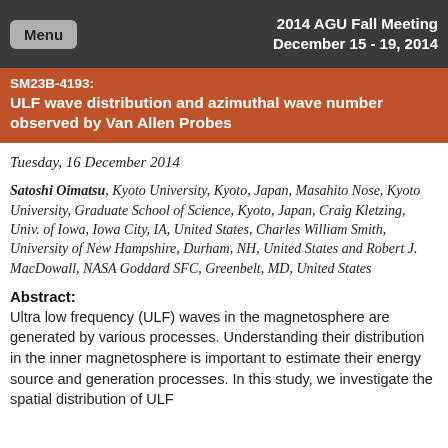2014 AGU Fall Meeting
December 15 - 19, 2014
SM23B-4193:
ULF wave distribution and azimuthal wave number observed by Van Allen Probes
Tuesday, 16 December 2014
Satoshi Oimatsu, Kyoto University, Kyoto, Japan, Masahito Nose, Kyoto University, Graduate School of Science, Kyoto, Japan, Craig Kletzing, Univ. of Iowa, Iowa City, IA, United States, Charles William Smith, University of New Hampshire, Durham, NH, United States and Robert J. MacDowall, NASA Goddard SFC, Greenbelt, MD, United States
Abstract:
Ultra low frequency (ULF) waves in the magnetosphere are generated by various processes. Understanding their distribution in the inner magnetosphere is important to estimate their energy source and generation processes. In this study, we investigate the spatial distribution of ULF waves...